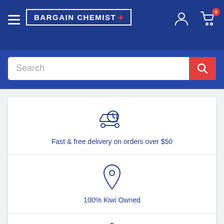BARGAIN CHEMIST
Search
[Figure (illustration): Delivery truck with clock icon]
Fast & free delivery on orders over $50
[Figure (illustration): Location pin icon]
100% Kiwi Owned
[Figure (illustration): Shield with checkmark icon]
Price Beat Guarantee